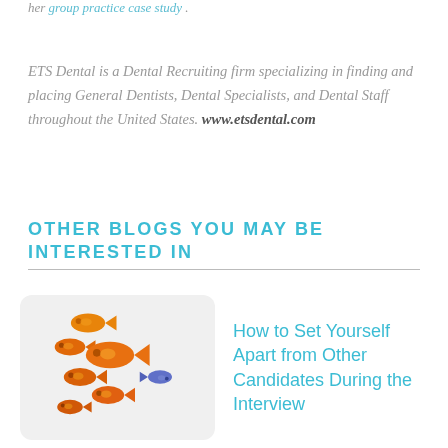her group practice case study .
ETS Dental is a Dental Recruiting firm specializing in finding and placing General Dentists, Dental Specialists, and Dental Staff throughout the United States. www.etsdental.com
OTHER BLOGS YOU MAY BE INTERESTED IN
[Figure (illustration): A group of orange/red fish swimming left with one small blue/purple fish swimming right, inside a rounded rectangle card]
How to Set Yourself Apart from Other Candidates During the Interview